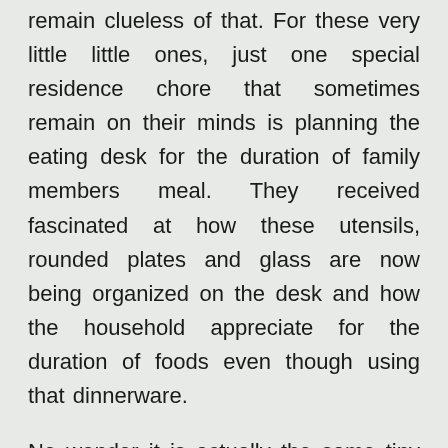remain clueless of that. For these very little little ones, just one special residence chore that sometimes remain on their minds is planning the eating desk for the duration of family members meal. They received fascinated at how these utensils, rounded plates and glass are now being organized on the desk and how the household appreciate for the duration of foods even though using that dinnerware.
No wonder it is actually the same tiny chores that pre faculties usually teach their students the moment they begun attending class. When you will find parents, primarily mothers, who teach their little ones of the way to put together the table during mealtime, you can find also those who are hesitant and reserved concerning the idea. It truly is simply because they worry that their children may accidentally drop their